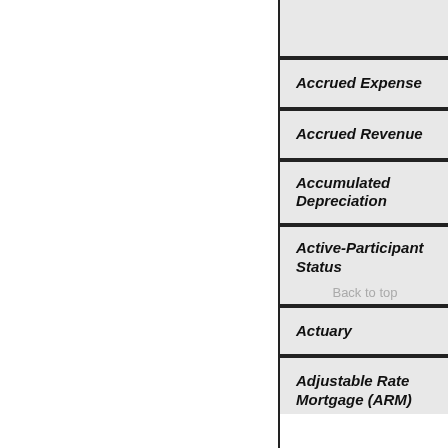| Term |
| --- |
|  |
| Accrued Expense |
| Accrued Revenue |
| Accumulated Depreciation |
| Active-Participant Status |
| Actuary |
| Adjustable Rate Mortgage (ARM) |